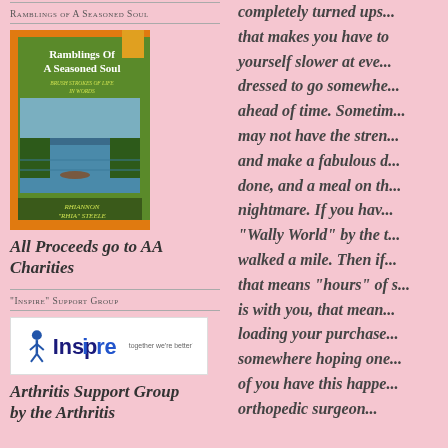Ramblings of A Seasoned Soul
[Figure (illustration): Book cover of 'Ramblings Of A Seasoned Soul' by Rhiannon 'Rhia' Steele, green cover with river scene photo]
All Proceeds go to AA Charities
"Inspire" Support Group
[Figure (logo): Inspire logo - blue person figure with 'Inspire together we're better' text]
Arthritis Support Group by the Arthritis
completely turned ups... that makes you have to yourself slower at eve... dressed to go somewhere ahead of time. Sometim... may not have the stren... and make a fabulous d... done, and a meal on th... nightmare. If you hav... "Wally World" by the t... walked a mile. Then if... that means "hours" of s... is with you, that mean... loading your purchase... somewhere hoping one... of you have this happe... orthopedic surgeon...